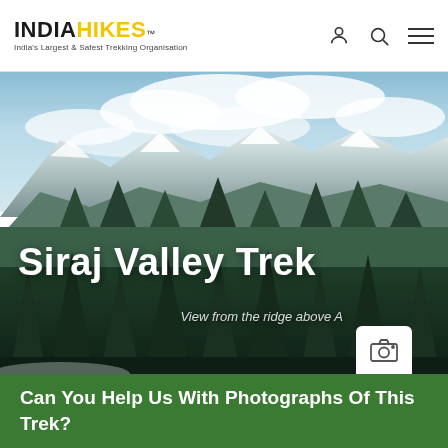INDIAHIKES™ — India's Largest & Safest Trekking Organisation
[Figure (photo): Hero photograph of Siraj Valley Trek showing snow-capped mountains in background, dense conifer forest in foreground, with partly cloudy sky. White text overlay reads 'Siraj Valley Trek'. Caption text reads 'View from the ridge above A']
Siraj Valley Trek
View from the ridge above A
Can You Help Us With Photographs Of This Trek?